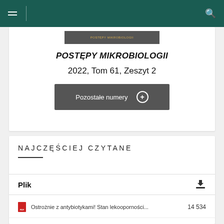Navigation bar with hamburger menu and search icon
[Figure (screenshot): Partial journal cover image for Postepy Mikrobiologii]
POSTĘPY MIKROBIOLOGII
2022, Tom 61, Zeszyt 2
Pozostałe numery +
NAJCZĘŚCIEJ CZYTANE
Plik
14534